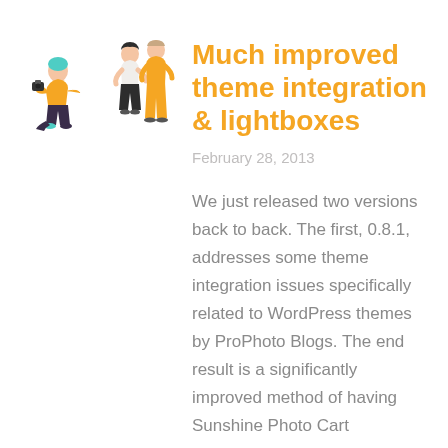[Figure (illustration): Two flat-style illustrations: a photographer crouching with a camera on the left, and a couple/pair of people standing on the right]
Much improved theme integration & lightboxes
February 28, 2013
We just released two versions back to back. The first, 0.8.1, addresses some theme integration issues specifically related to WordPress themes by ProPhoto Blogs. The end result is a significantly improved method of having Sunshine Photo Cart